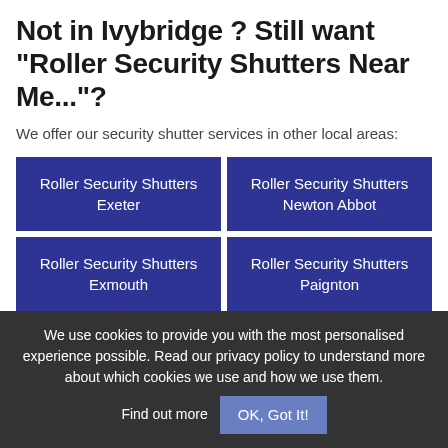Not in Ivybridge ? Still want "Roller Security Shutters Near Me..."?
We offer our security shutter services in other local areas:
Roller Security Shutters Exeter
Roller Security Shutters Newton Abbot
Roller Security Shutters Exmouth
Roller Security Shutters Paignton
We use cookies to provide you with the most personalised experience possible. Read our privacy policy to understand more about which cookies we use and how we use them. Find out more  OK, Got It!